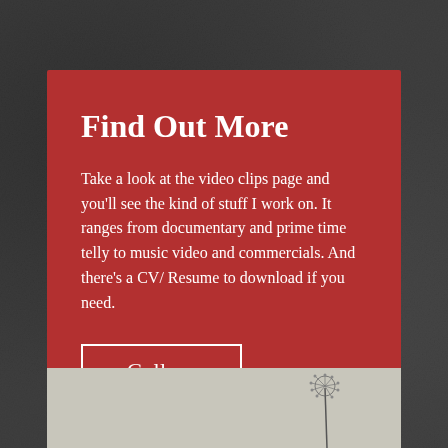[Figure (photo): Dark textured background resembling rough concrete or asphalt]
Find Out More
Take a look at the video clips page and you'll see the kind of stuff I work on. It ranges from documentary and prime time telly to music video and commercials. And there's a CV/ Resume to download if you need.
Gallery
[Figure (photo): Light gray/beige photo strip at bottom showing a dandelion seed head on a stem against a pale sky]